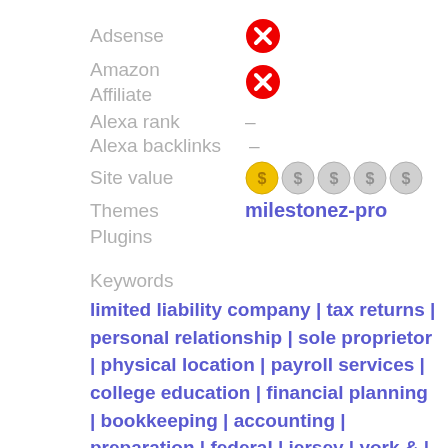Adsense  ✗
Amazon Affiliate  ✗
Alexa rank  -
Alexa backlinks  -
Site value  $ $ $ $ $
Themes  milestonez-pro
Plugins
Keywords
limited liability company | tax returns | personal relationship | sole proprietor | physical location | payroll services | college education | financial planning | bookkeeping | accounting | preparation | federal | jersey | york & |